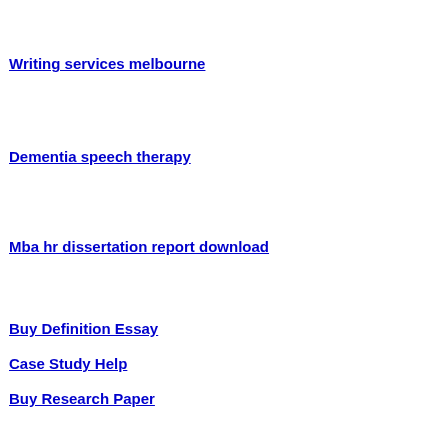Writing services melbourne
Dementia speech therapy
Mba hr dissertation report download
Buy Definition Essay
Case Study Help
Buy Research Paper